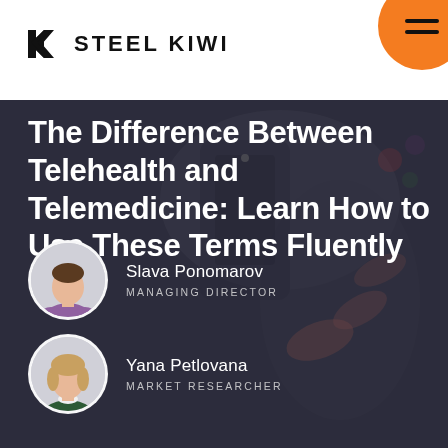[Figure (logo): Steel Kiwi logo with SK icon and text STEEL KIWI]
[Figure (illustration): Orange circle hamburger menu button in top-right corner]
The Difference Between Telehealth and Telemedicine: Learn How to Use These Terms Fluently
[Figure (photo): Author photo: Slava Ponomarov, circular portrait of a man in purple t-shirt]
Slava Ponomarov
MANAGING DIRECTOR
[Figure (photo): Author photo: Yana Petlovana, circular portrait of a woman in dark green top]
Yana Petlovana
MARKET RESEARCHER